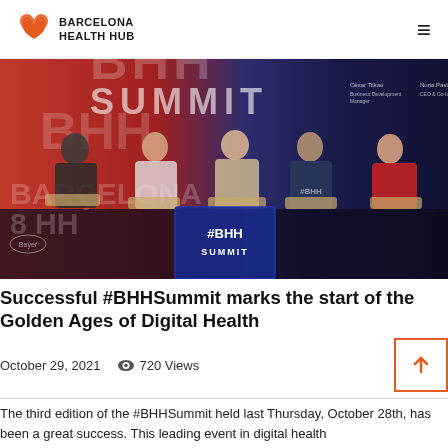Barcelona Health Hub
[Figure (photo): Panel discussion at the BHH Summit event. Five speakers sit on stage in front of a large red and blue backdrop with 'BHH SUMMIT' branding. A branded cube with '#BHH SUMMIT' text is visible center stage. Speaker nameplates on the backdrop include César Tilkao (Business Development Manager), Nuria Pastor (CEO & Co-founder), and Anna Vials (Innovation Engineer).]
Successful #BHHSummit marks the start of the Golden Ages of Digital Health
October 29, 2021   720 Views
The third edition of the #BHHSummit held last Thursday, October 28th, has been a great success. This leading event in digital health